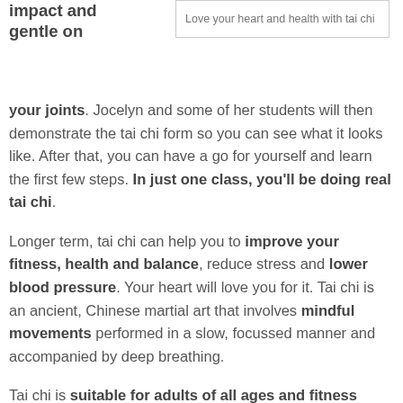[Figure (other): Box with text: Love your heart and health with tai chi]
impact and gentle on your joints. Jocelyn and some of her students will then demonstrate the tai chi form so you can see what it looks like. After that, you can have a go for yourself and learn the first few steps. In just one class, you'll be doing real tai chi.
Longer term, tai chi can help you to improve your fitness, health and balance, reduce stress and lower blood pressure. Your heart will love you for it. Tai chi is an ancient, Chinese martial art that involves mindful movements performed in a slow, focussed manner and accompanied by deep breathing.
Tai chi is suitable for adults of all ages and fitness levels. If you are unable to stand for very long, Jocelyn is also qualified to teach seated tai chi, which you can do alongside the rest of the class.